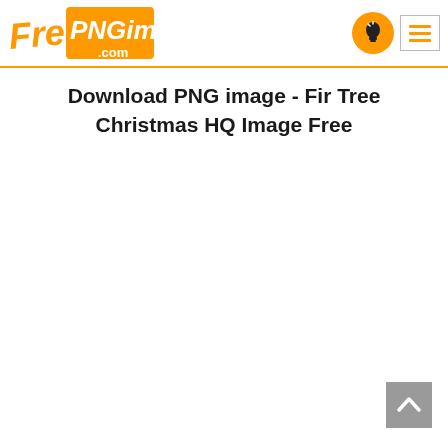FreePNGimg.com
Download PNG image - Fir Tree Christmas HQ Image Free
[Figure (logo): FreePNGimg.com logo with orange rectangle background and white stylized text 'PNGimg', with 'Free' in orange italic script and '.com' in white]